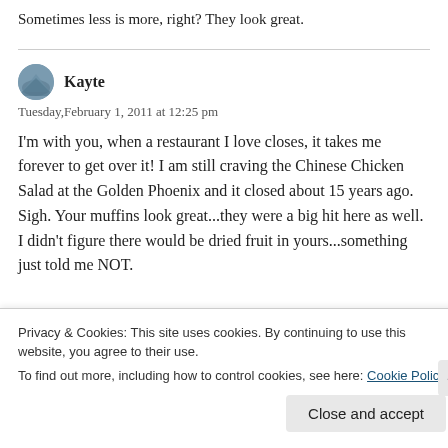Sometimes less is more, right?  They look great.
Kayte
Tuesday,February 1, 2011 at 12:25 pm
I'm with you, when a restaurant I love closes, it takes me forever to get over it! I am still craving the Chinese Chicken Salad at the Golden Phoenix and it closed about 15 years ago. Sigh. Your muffins look great...they were a big hit here as well. I didn't figure there would be dried fruit in yours...something just told me NOT.
Privacy & Cookies: This site uses cookies. By continuing to use this website, you agree to their use.
To find out more, including how to control cookies, see here: Cookie Policy